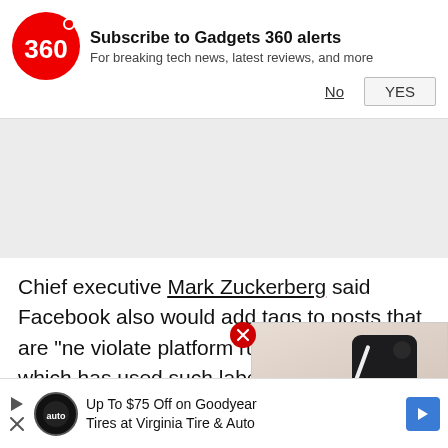[Figure (screenshot): Gadgets 360 notification subscription banner with red circular logo, title 'Subscribe to Gadgets 360 alerts', subtitle 'For breaking tech news, latest reviews, and more', with No and YES buttons]
Chief executive Mark Zuckerberg said Facebook also would add tags to posts that are "ne violate platform rules -- following the which has used such labels on twee
[Figure (screenshot): Video overlay showing a black smartphone on a pink/beige background with a red play button]
Facebook has said it has invested heavily in efforts to
[Figure (screenshot): Advertisement banner: Up To $75 Off on Goodyear Tires at Virginia Tire & Auto with blue arrow logo]